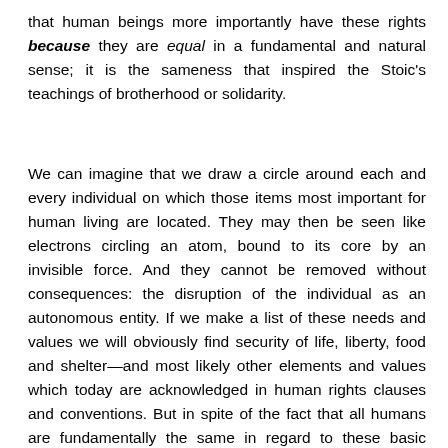that human beings more importantly have these rights because they are equal in a fundamental and natural sense; it is the sameness that inspired the Stoic's teachings of brotherhood or solidarity.
We can imagine that we draw a circle around each and every individual on which those items most important for human living are located. They may then be seen like electrons circling an atom, bound to its core by an invisible force. And they cannot be removed without consequences: the disruption of the individual as an autonomous entity. If we make a list of these needs and values we will obviously find security of life, liberty, food and shelter—and most likely other elements and values which today are acknowledged in human rights clauses and conventions. But in spite of the fact that all humans are fundamentally the same in regard to these basic elements, they are still different in their individuality and strength, and that fact makes it essential to recognize and find a way to protect their equality in